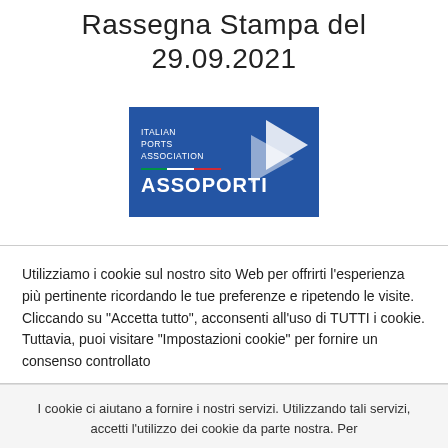Rassegna Stampa del 29.09.2021
[Figure (logo): Assoporti logo — Italian Ports Association on blue background with Italian flag stripe and arrow icon]
Utilizziamo i cookie sul nostro sito Web per offrirti l'esperienza più pertinente ricordando le tue preferenze e ripetendo le visite. Cliccando su "Accetta tutto", acconsenti all'uso di TUTTI i cookie. Tuttavia, puoi visitare "Impostazioni cookie" per fornire un consenso controllato
I cookie ci aiutano a fornire i nostri servizi. Utilizzando tali servizi, accetti l'utilizzo dei cookie da parte nostra. Per